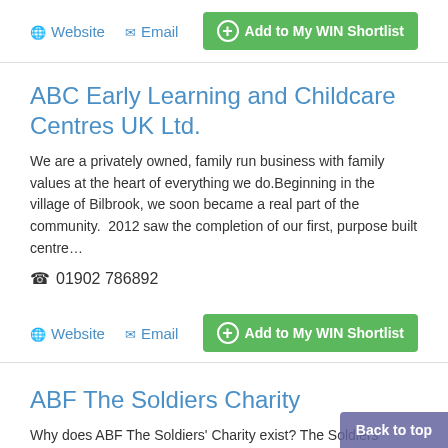Website   Email   + Add to My WIN Shortlist
ABC Early Learning and Childcare Centres UK Ltd.
We are a privately owned, family run business with family values at the heart of everything we do.Beginning in the village of Bilbrook, we soon became a real part of the community.  2012 saw the completion of our first, purpose built centre…
01902 786892
Website   Email   + Add to My WIN Shortlist
ABF The Soldiers Charity
Why does ABF The Soldiers' Charity exist? The Soldiers Charity formerly the Army Benevolent Fund is the National Charity for me
Back to top